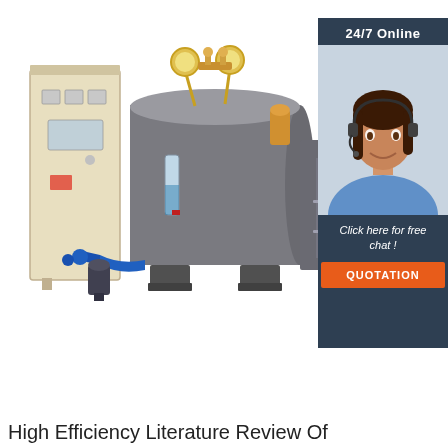[Figure (photo): Industrial electric steam boiler unit with control panel on the left (cream/beige cabinet with gauges and buttons), a horizontal cylindrical boiler tank (dark gray) with pressure gauges and valves on top, mounted on legs, with blue piping and a pump at the lower left. On the right side is a customer service advertisement box with dark blue background showing '24/7 Online', a smiling female agent wearing a headset, text 'Click here for free chat!', and an orange 'QUOTATION' button.]
High Efficiency Literature Review Of